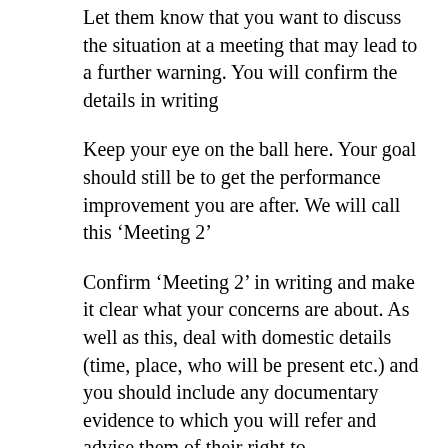Let them know that you want to discuss the situation at a meeting that may lead to a further warning. You will confirm the details in writing
Keep your eye on the ball here. Your goal should still be to get the performance improvement you are after. We will call this ‘Meeting 2’
Confirm ‘Meeting 2’ in writing and make it clear what your concerns are about. As well as this, deal with domestic details (time, place, who will be present etc.) and you should include any documentary evidence to which you will refer and advise them of their right to